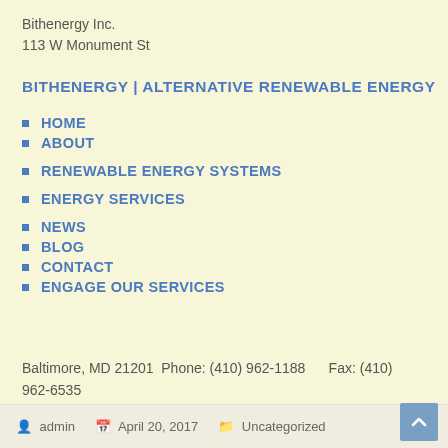Bithenergy Inc.
113 W Monument St
BITHENERGY | ALTERNATIVE RENEWABLE ENERGY
HOME
ABOUT
RENEWABLE ENERGY SYSTEMS
ENERGY SERVICES
NEWS
BLOG
CONTACT
ENGAGE OUR SERVICES
Baltimore, MD 21201  Phone: (410) 962-1188     Fax: (410) 962-6535
admin   April 20, 2017   Uncategorized